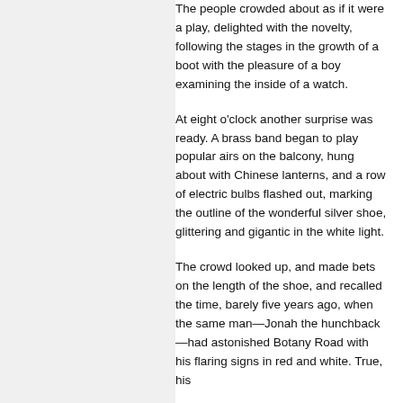The people crowded about as if it were a play, delighted with the novelty, following the stages in the growth of a boot with the pleasure of a boy examining the inside of a watch.
At eight o'clock another surprise was ready. A brass band began to play popular airs on the balcony, hung about with Chinese lanterns, and a row of electric bulbs flashed out, marking the outline of the wonderful silver shoe, glittering and gigantic in the white light.
The crowd looked up, and made bets on the length of the shoe, and recalled the time, barely five years ago, when the same man—Jonah the hunchback—had astonished Botany Road with his flaring signs in red and white. True, his